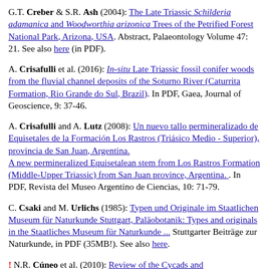G.T. Creber & S.R. Ash (2004): The Late Triassic Schilderia adamanica and Woodworthia arizonica Trees of the Petrified Forest National Park, Arizona, USA. Abstract, Palaeontology Volume 47: 21. See also here (in PDF).
A. Crisafulli et al. (2016): In-situ Late Triassic fossil conifer woods from the fluvial channel deposits of the Soturno River (Caturrita Formation, Rio Grande do Sul, Brazil). In PDF, Gaea, Journal of Geoscience, 9: 37-46.
A. Crisafulli and A. Lutz (2008): Un nuevo tallo permineralizado de Equisetales de la Formación Los Rastros (Triásico Medio - Superior), provincia de San Juan, Argentina. A new permineralized Equisetalean stem from Los Rastros Formation (Middle-Upper Triassic) from San Juan province, Argentina. . In PDF, Revista del Museo Argentino de Ciencias, 10: 71-79.
C. Csaki and M. Urlichs (1985): Typen und Originale im Staatlichen Museum für Naturkunde Stuttgart, Paläobotanik: Types and originals in the Staatliches Museum für Naturkunde ... Stuttgarter Beiträge zur Naturkunde, in PDF (35MB!). See also here.
! N.R. Cúneo et al. (2010): Review of the Cycads and Bennettitales from the Mesozoic of Antarctica. In PDF, ...